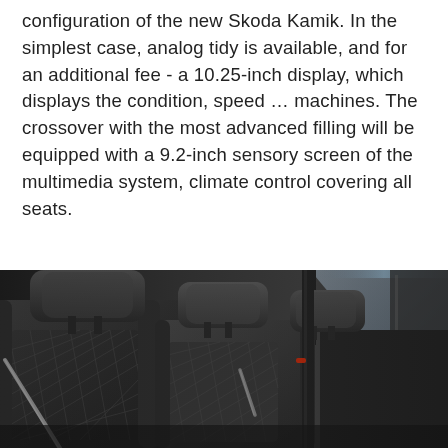configuration of the new Skoda Kamik. In the simplest case, analog tidy is available, and for an additional fee - a 10.25-inch display, which displays the condition, speed … machines. The crossover with the most advanced filling will be equipped with a 9.2-inch sensory screen of the multimedia system, climate control covering all seats.
[Figure (photo): Black and white photograph of the rear interior seats of a Skoda Kamiq crossover, showing black leather upholstery with diamond quilted pattern, headrests, and seatbelts visible.]